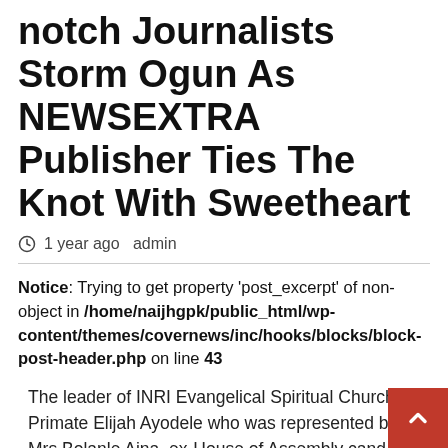notch Journalists Storm Ogun As NEWSEXTRA Publisher Ties The Knot With Sweetheart
1 year ago  admin
Notice: Trying to get property 'post_excerpt' of non-object in /home/naijhgpk/public_html/wp-content/themes/covernews/inc/hooks/blocks/block-post-header.php on line 43
The leader of INRI Evangelical Spiritual Church, Primate Elijah Ayodele who was represented by Mrs Bolanle Aina, ex-House of Assembly cand for Abeokuta South constituency II of Ogun State,